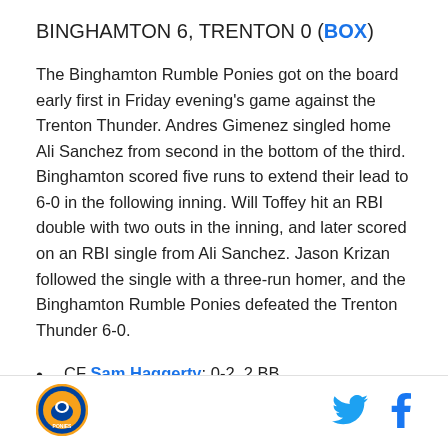BINGHAMTON 6, TRENTON 0 (BOX)
The Binghamton Rumble Ponies got on the board early first in Friday evening's game against the Trenton Thunder. Andres Gimenez singled home Ali Sanchez from second in the bottom of the third. Binghamton scored five runs to extend their lead to 6-0 in the following inning. Will Toffey hit an RBI double with two outs in the inning, and later scored on an RBI single from Ali Sanchez. Jason Krizan followed the single with a three-run homer, and the Binghamton Rumble Ponies defeated the Trenton Thunder 6-0.
CF Sam Haggerty: 0-2, 2 BB
SS Andres Gimenez: 1-3, RBI, BB
[Figure (logo): Binghamton Rumble Ponies circular team logo with orange and blue colors]
[Figure (logo): Twitter bird icon in blue]
[Figure (logo): Facebook f icon in blue]